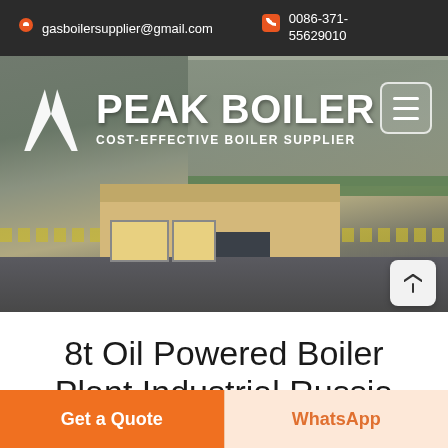gasboilersupplier@gmail.com  0086-371-55629010
[Figure (screenshot): Peak Boiler company hero banner showing factory gate entrance with yellow fence, beige gatehouse building, industrial facility in background. Logo with white mountain/peak icon and PEAK BOILER text in white bold font with subtitle COST-EFFECTIVE BOILER SUPPLIER. Hamburger menu button top right. Scroll-to-top arrow button bottom right.]
8t Oil Powered Boiler Plant Industrial Russia
Get a Quote
WhatsApp